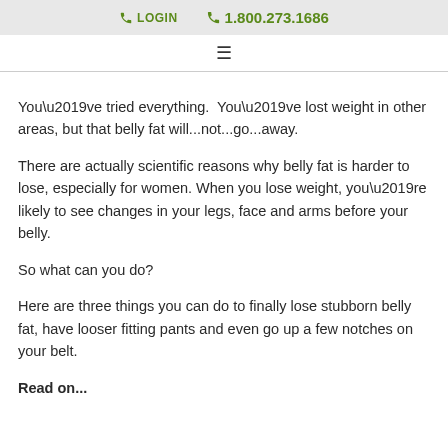LOGIN  1.800.273.1686
You’ve tried everything.  You’ve lost weight in other areas, but that belly fat will...not...go...away.
There are actually scientific reasons why belly fat is harder to lose, especially for women. When you lose weight, you’re likely to see changes in your legs, face and arms before your belly.
So what can you do?
Here are three things you can do to finally lose stubborn belly fat, have looser fitting pants and even go up a few notches on your belt.
Read on...